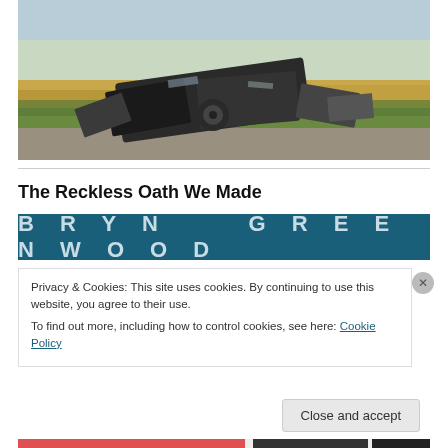[Figure (photo): A wrecked and overturned vehicle or trailer lying in a rural field alongside a road, with golden fields in the background and a pale sky.]
The Reckless Oath We Made
[Figure (illustration): Author banner with teal/dark blue background showing 'BRYN GREENWOOD' in large spaced capital letters in light blue-gray color.]
Privacy & Cookies: This site uses cookies. By continuing to use this website, you agree to their use.
To find out more, including how to control cookies, see here: Cookie Policy
Close and accept